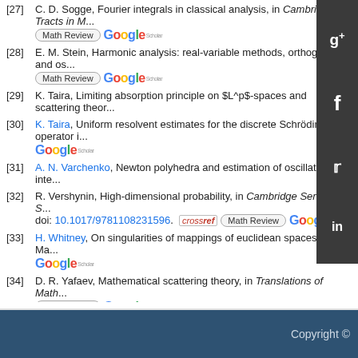[27] C. D. Sogge, Fourier integrals in classical analysis, in Cambridge Tracts in M... [Math Review] [Google]
[28] E. M. Stein, Harmonic analysis: real-variable methods, orthogonality, and os... [Math Review] [Google]
[29] K. Taira, Limiting absorption principle on $L^p$-spaces and scattering theor...
[30] K. Taira, Uniform resolvent estimates for the discrete Schrödinger operator i... [Google]
[31] A. N. Varchenko, Newton polyhedra and estimation of oscillating inte...
[32] R. Vershynin, High-dimensional probability, in Cambridge Series in S... doi: 10.1017/9781108231596. [CrossRef] [Math Review] [Google]
[33] H. Whitney, On singularities of mappings of euclidean spaces. I. Ma... [Google]
[34] D. R. Yafaev, Mathematical scattering theory, in Translations of Math... [Math Review] [Google]
show all references
Copyright ©